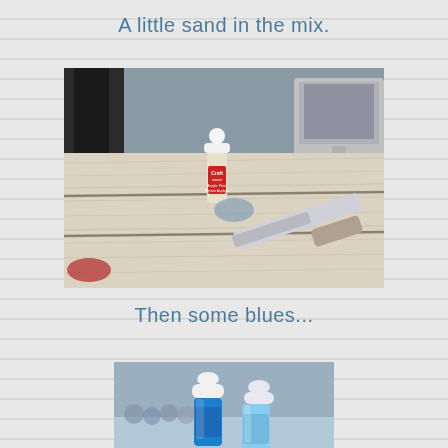A little sand in the mix.
[Figure (photo): A small bottle of Craft Smart Acrylic Paint sitting on weathered wooden boards being painted with a wide brush. The wood has a whitewashed appearance.]
Then some blues...
[Figure (photo): Two small bottles of blue acrylic paint on a surface, partially cropped at bottom of page.]